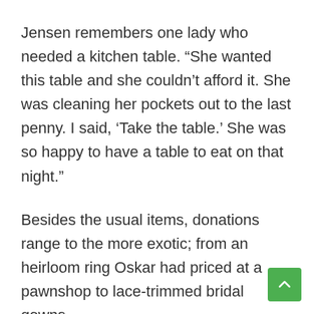Jensen remembers one lady who needed a kitchen table. “She wanted this table and she couldn’t afford it. She was cleaning her pockets out to the last penny. I said, ‘Take the table.’ She was so happy to have a table to eat on that night.”
Besides the usual items, donations range to the more exotic; from an heirloom ring Oskar had priced at a pawnshop to lace-trimmed bridal gowns.
The list of items also includes:
• One year brought a hand-operated wringer